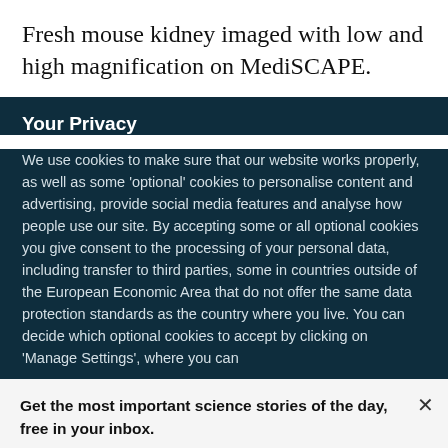Fresh mouse kidney imaged with low and high magnification on MediSCAPE.
Your Privacy
We use cookies to make sure that our website works properly, as well as some 'optional' cookies to personalise content and advertising, provide social media features and analyse how people use our site. By accepting some or all optional cookies you give consent to the processing of your personal data, including transfer to third parties, some in countries outside of the European Economic Area that do not offer the same data protection standards as the country where you live. You can decide which optional cookies to accept by clicking on 'Manage Settings', where you can
Get the most important science stories of the day, free in your inbox.
Sign up for Nature Briefing